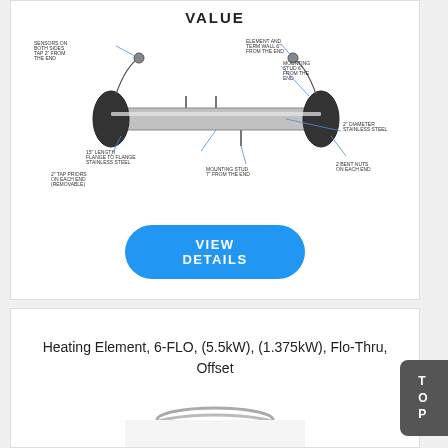VALUE
[Figure (engineering-diagram): Labeled diagram of a Flo-Thru heating element showing: sensors on both ends (tap 2" from the end), element end from wall (6" from the end), mounting stud (6" from the end), 2" diameter stainless steel, 15" length flange to flange stainless steel, mounting stud 7" from the end, 2 tap priors on each end (removable), 2 bent nuts on each end]
VIEW DETAILS
Heating Element, 6-FLO, (5.5kW), (1.375kW), Flo-Thru, Offset
[Figure (photo): Partial view of a coiled heating element]